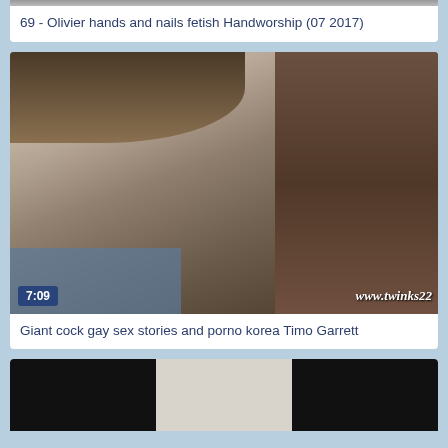[Figure (photo): Partial video thumbnail strip at top of page]
69 - Olivier hands and nails fetish Handworship (07 2017)
[Figure (photo): Video thumbnail showing a young man, duration 7:09, watermark www.twinks22]
Giant cock gay sex stories and porno korea Timo Garrett
[Figure (photo): Partial video thumbnail at bottom of page showing black panels on left and right with light center]